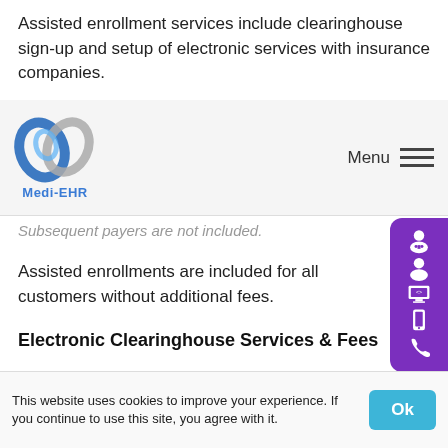Assisted enrollment services include clearinghouse sign-up and setup of electronic services with insurance companies.
[Figure (logo): Medi-EHR logo with blue and silver swoosh graphic and text 'Medi-EHR']
Subsequent payers are not included.
Assisted enrollments are included for all customers without additional fees.
Electronic Clearinghouse Services & Fees
Electronic Claims Submission (ANSI 837)
Electronic claims submission service includes sending
This website uses cookies to improve your experience. If you continue to use this site, you agree with it.